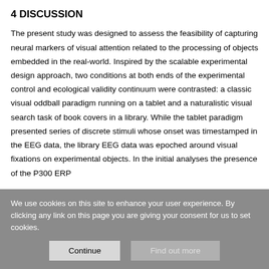4 DISCUSSION
The present study was designed to assess the feasibility of capturing neural markers of visual attention related to the processing of objects embedded in the real-world. Inspired by the scalable experimental design approach, two conditions at both ends of the experimental control and ecological validity continuum were contrasted: a classic visual oddball paradigm running on a tablet and a naturalistic visual search task of book covers in a library. While the tablet paradigm presented series of discrete stimuli whose onset was timestamped in the EEG data, the library EEG data was epoched around visual fixations on experimental objects. In the initial analyses the presence of the P300 ERP
We use cookies on this site to enhance your user experience. By clicking any link on this page you are giving your consent for us to set cookies.